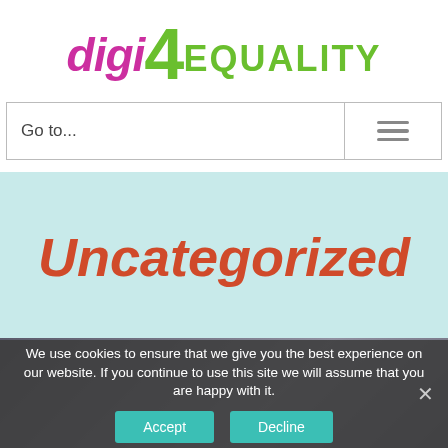[Figure (logo): digi4EQUALITY logo with stylized text: 'digi' in magenta italic, '4' in large green, 'EQUALITY' in green bold]
Go to...
Uncategorized
We use cookies to ensure that we give you the best experience on our website. If you continue to use this site we will assume that you are happy with it.
Accept
Decline